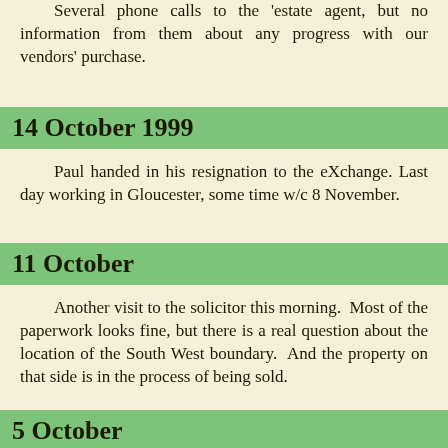Several phone calls to the estate agent, but no information from them about any progress with our vendors' purchase.
14 October 1999
Paul handed in his resignation to the eXchange. Last day working in Gloucester, some time w/c 8 November.
11 October
Another visit to the solicitor this morning. Most of the paperwork looks fine, but there is a real question about the location of the South West boundary. And the property on that side is in the process of being sold.
5 October